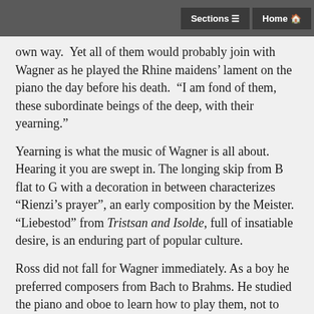Sections  Home
own way.  Yet all of them would probably join with Wagner as he played the Rhine maidens' lament on the piano the day before his death.  "I am fond of them, these subordinate beings of the deep, with their yearning."
Yearning is what the music of Wagner is all about.  Hearing it you are swept in. The longing skip from B flat to G with a decoration in between characterizes "Rienzi's prayer", an early composition by the Meister.  "Liebestod" from Tristsan and Isolde, full of insatiable desire, is an enduring part of popular culture.
Ross did not fall for Wagner immediately. As a boy he preferred composers from Bach to Brahms. He studied the piano and oboe to learn how to play them, not to perform for us from a stage. His chosen stage was composition. And